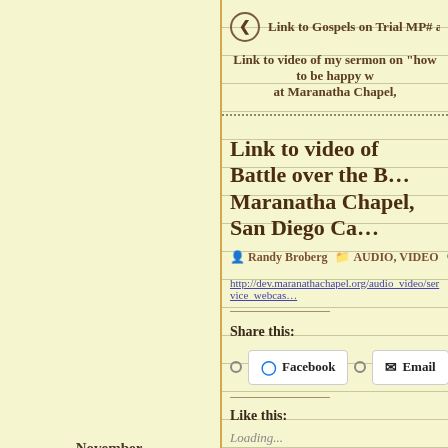November 3, 2010
Link to Gospels on Trial MP# audio from Belie
Link to video of my sermon on “how to be happy w at Maranatha Chapel,
Link to video of Battle over the B… Maranatha Chapel, San Diego Ca…
Randy Broberg  AUDIO, VIDEO  Leave a commen…
http://dev.maranathachapel.org/audio_video/service_webcas…
Share this:
Facebook  Email  Pinterest
Like this:
Loading...